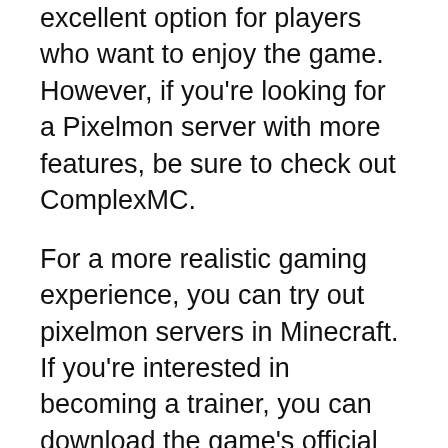excellent option for players who want to enjoy the game. However, if you're looking for a Pixelmon server with more features, be sure to check out ComplexMC.
For a more realistic gaming experience, you can try out pixelmon servers in Minecraft. If you're interested in becoming a trainer, you can download the game's official site and install the game client. Then, you can start training with your new Pokemon and beat the gyms to become a legend. You can also join a server that allows you to play the game with friends. This will ensure that you don't miss out on other features and services.
Infinito MC is the most popular Minecraft...